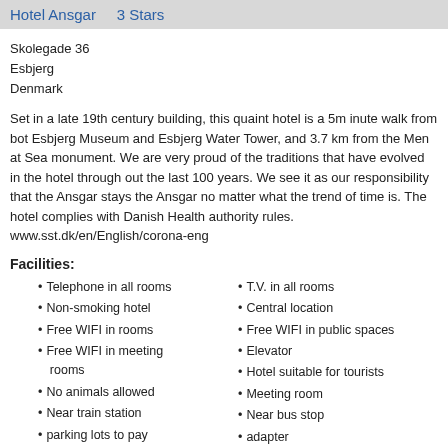Hotel Ansgar    3 Stars
Skolegade 36
Esbjerg
Denmark
Set in a late 19th century building, this quaint hotel is a 5m inute walk from both Esbjerg Museum and Esbjerg Water Tower, and 3.7 km from the Men at Sea monument. We are very proud of the traditions that have evolved in the hotel through out the last 100 years. We see it as our responsibility that the Ansgar stays the Ansgar no matter what the trend of time is. The hotel complies with Danish Health authority rules. www.sst.dk/en/English/corona-eng
Facilities:
Telephone in all rooms
Non-smoking hotel
Free WIFI in rooms
Free WIFI in meeting rooms
No animals allowed
Near train station
parking lots to pay
CNN News Service
Smoke alarm
T.V. in all rooms
Central location
Free WIFI in public spaces
Elevator
Hotel suitable for tourists
Meeting room
Near bus stop
adapter
Housekeeping Service
Fire protective doors